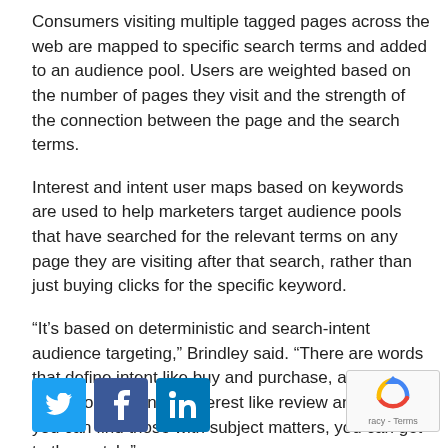Consumers visiting multiple tagged pages across the web are mapped to specific search terms and added to an audience pool. Users are weighted based on the number of pages they visit and the strength of the connection between the page and the search terms.
Interest and intent user maps based on keywords are used to help marketers target audience pools that have searched for the relevant terms on any page they are visiting after that search, rather than just buying clicks for the specific keyword.
“It’s based on deterministic and search-intent audience targeting,” Brindley said. “There are words that define intent like buy and purchase, and others that strongly convey interest like review and pair. If you can find those with subject matters, you can get to the match.”
[Figure (other): Social media share buttons: Twitter (blue bird icon), Facebook (blue f icon), LinkedIn (blue in icon)]
[Figure (other): reCAPTCHA logo with text 'racy - Terms']